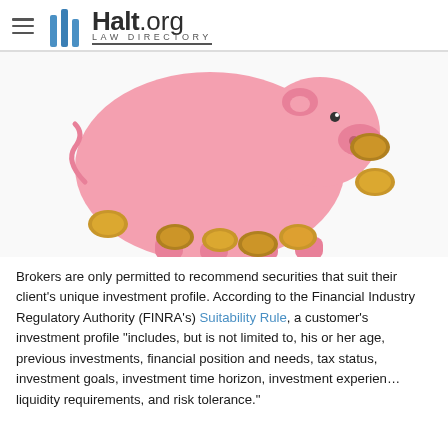Halt.org Law Directory
[Figure (photo): Pink piggy bank tipped over on its side with gold and copper coins scattered around it on a white background.]
Brokers are only permitted to recommend securities that suit their client's unique investment profile. According to the Financial Industry Regulatory Authority (FINRA's) Suitability Rule, a customer's investment profile "includes, but is not limited to, his or her age, previous investments, financial position and needs, tax status, investment goals, investment time horizon, investment experience, liquidity requirements, and risk tolerance."